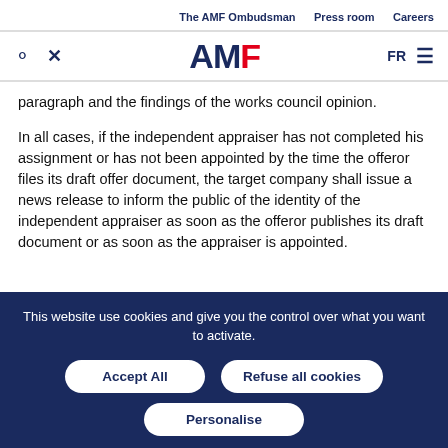The AMF Ombudsman   Press room   Careers
[Figure (logo): AMF logo with search icon, close icon, FR language toggle and hamburger menu]
paragraph and the findings of the works council opinion.
In all cases, if the independent appraiser has not completed his assignment or has not been appointed by the time the offeror files its draft offer document, the target company shall issue a news release to inform the public of the identity of the independent appraiser as soon as the offeror publishes its draft document or as soon as the appraiser is appointed.
This website use cookies and give you the control over what you want to activate.
Accept All   Refuse all cookies   Personalise